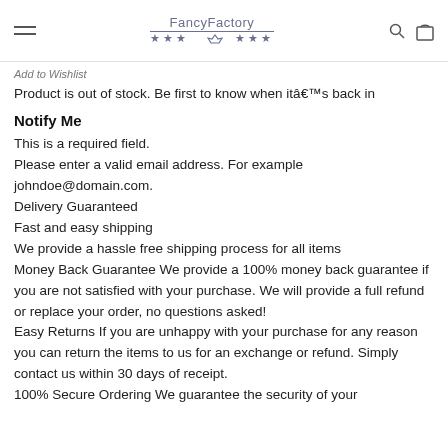FancyFactory *** ♛ ***
Add to Wishlist
Product is out of stock. Be first to know when itâ€™s back in
Notify Me
This is a required field.
Please enter a valid email address. For example johndoe@domain.com.
Delivery Guaranteed
Fast and easy shipping
We provide a hassle free shipping process for all items
Money Back Guarantee We provide a 100% money back guarantee if you are not satisfied with your purchase. We will provide a full refund or replace your order, no questions asked!
Easy Returns If you are unhappy with your purchase for any reason you can return the items to us for an exchange or refund. Simply contact us within 30 days of receipt.
100% Secure Ordering We guarantee the security of your